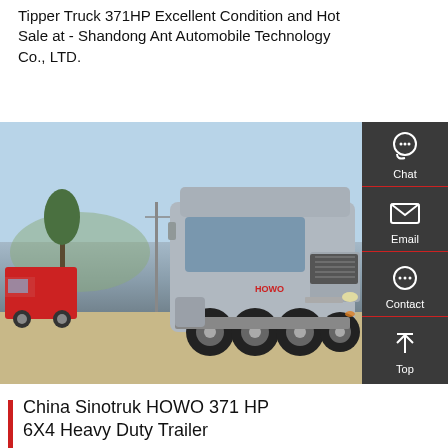Tipper Truck 371HP Excellent Condition and Hot Sale at - Shandong Ant Automobile Technology Co., LTD.
Get a Quote
[Figure (photo): A silver Sinotruk HOWO 6x4 heavy duty tractor truck parked outdoors. A red truck is partially visible on the left. Trees and utility poles visible in background.]
Chat
Email
Contact
Top
China Sinotruk HOWO 371 HP 6X4 Heavy Duty Trailer